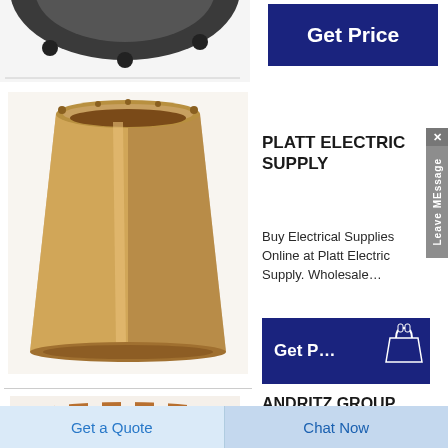[Figure (photo): Partial view of a dark metal disc/flange with bolt holes, cropped at top]
[Figure (photo): Bronze/copper colored bucket-shaped industrial crusher bushing, viewed from above at angle]
PLATT ELECTRIC SUPPLY
Buy Electrical Supplies Online at Platt Electric Supply. Wholesale…
[Figure (screenshot): Get Price button (dark blue) with shopping bag icon overlay]
[Figure (photo): Copper/bronze cylindrical crusher bushing, shorter, with notched top rim]
ANDRITZ GROUP
ANDRITZ is a globally leading supplier of plants,
Get a Quote
Chat Now